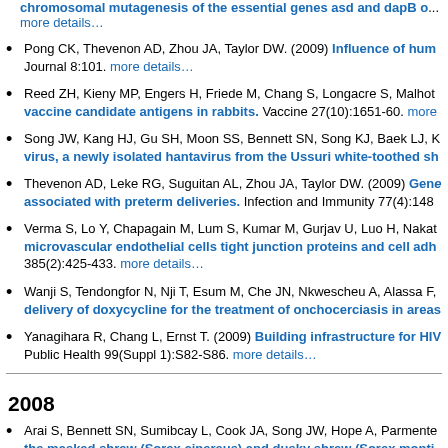chromosomal mutagenesis of the essential genes asd and dapB o... more details…
Pong CK, Thevenon AD, Zhou JA, Taylor DW. (2009) Influence of hum... Journal 8:101. more details…
Reed ZH, Kieny MP, Engers H, Friede M, Chang S, Longacre S, Malhot... vaccine candidate antigens in rabbits. Vaccine 27(10):1651-60. more...
Song JW, Kang HJ, Gu SH, Moon SS, Bennett SN, Song KJ, Baek LJ, K... virus, a newly isolated hantavirus from the Ussuri white-toothed sh...
Thevenon AD, Leke RG, Suguitan AL, Zhou JA, Taylor DW. (2009) Gene... associated with preterm deliveries. Infection and Immunity 77(4):1482...
Verma S, Lo Y, Chapagain M, Lum S, Kumar M, Gurjav U, Luo H, Nakat... microvascular endothelial cells tight junction proteins and cell adh... 385(2):425-433. more details…
Wanji S, Tendongfor N, Nji T, Esum M, Che JN, Nkwescheu A, Alassa F,... delivery of doxycycline for the treatment of onchocerciasis in areas...
Yanagihara R, Chang L, Ernst T. (2009) Building infrastructure for HIV... Public Health 99(Suppl 1):S82-S86. more details…
2008
Arai S, Bennett SN, Sumibcay L, Cook JA, Song JW, Hope A, Parmente... the masked shrew (Sorex cinereus) and dusky shrew (Sorex monti... 351. more details…
Arai S, Ohdachi SD, Asakawa M, Kang HJ, Mocz G, Arikawa J, Okabe N...